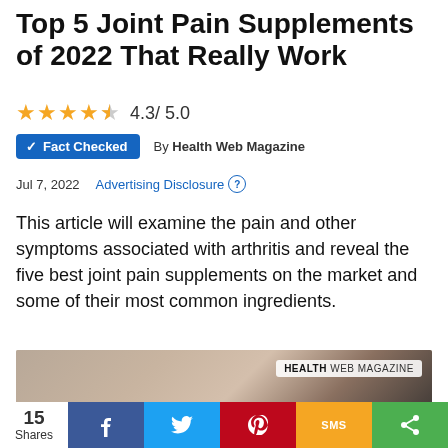Top 5 Joint Pain Supplements of 2022 That Really Work
4.3 / 5.0
✓ Fact Checked   By Health Web Magazine
Jul 7, 2022   Advertising Disclosure ?
This article will examine the pain and other symptoms associated with arthritis and reveal the five best joint pain supplements on the market and some of their most common ingredients.
[Figure (photo): Person holding a sore knee joint, with Health Web Magazine watermark overlay]
15 Shares  [Facebook] [Twitter] [Pinterest] [SMS] [Share]